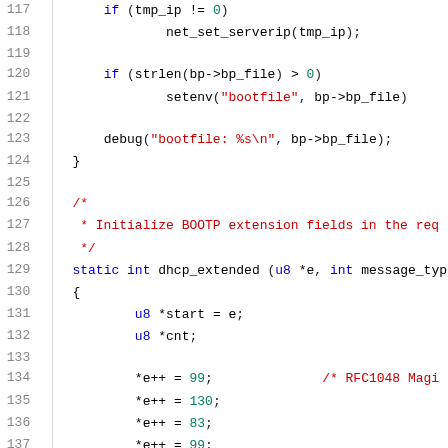[Figure (screenshot): Source code listing (C language) showing lines 117-137. Line numbers in grey on left, code with syntax highlighting on right. Keywords in blue, strings in red, numeric literals in green, comments in red.]